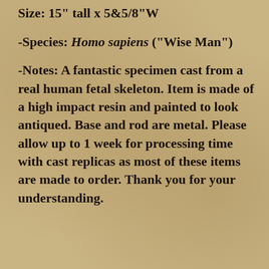Size: 15" tall x 5&5/8"W
-Species: Homo sapiens ("Wise Man")
-Notes: A fantastic specimen cast from a real human fetal skeleton. Item is made of a high impact resin and painted to look antiqued. Base and rod are metal. Please allow up to 1 week for processing time with cast replicas as most of these items are made to order. Thank you for your understanding.